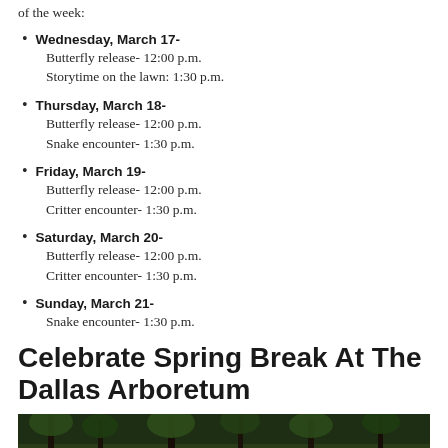of the week:
Wednesday, March 17-
Butterfly release- 12:00 p.m.
Storytime on the lawn: 1:30 p.m.
Thursday, March 18-
Butterfly release- 12:00 p.m.
Snake encounter- 1:30 p.m.
Friday, March 19-
Butterfly release- 12:00 p.m.
Critter encounter- 1:30 p.m.
Saturday, March 20-
Butterfly release- 12:00 p.m.
Critter encounter- 1:30 p.m.
Sunday, March 21-
Snake encounter- 1:30 p.m.
Celebrate Spring Break At The Dallas Arboretum
[Figure (photo): Outdoor garden/arboretum scene with trees and flowering plants]